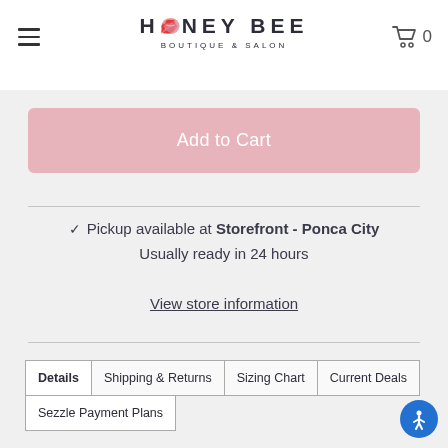[Figure (logo): Honey Bee Boutique & Salon logo with a pink lips/kiss icon replacing the 'O' in HONEY]
Add to Cart
✓ Pickup available at Storefront - Ponca City
Usually ready in 24 hours
View store information
Details | Shipping & Returns | Sizing Chart | Current Deals | Sezzle Payment Plans